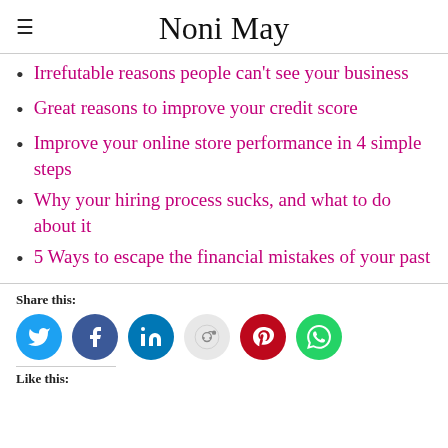Noni May
Irrefutable reasons people can't see your business
Great reasons to improve your credit score
Improve your online store performance in 4 simple steps
Why your hiring process sucks, and what to do about it
5 Ways to escape the financial mistakes of your past
Share this:
[Figure (infographic): Social share buttons: Twitter (blue), Facebook (dark blue), LinkedIn (blue), Reddit (light gray), Pinterest (red), WhatsApp (green)]
Like this: